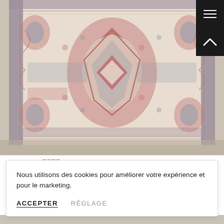[Figure (photo): Close-up photograph of a traditional Persian/Oriental rug with geometric medallion pattern in muted red, cream, and blue-grey tones]
Nous utilisons des cookies pour améliorer votre expérience et pour le marketing.
ACCEPTER    RÉGLAGE